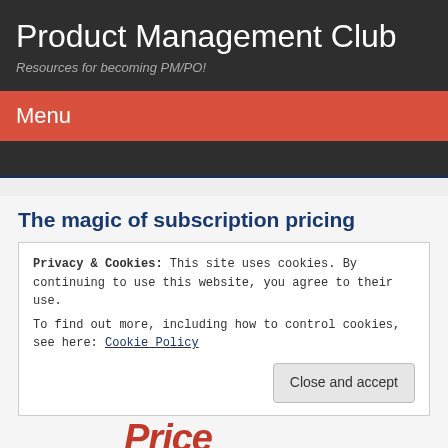Product Management Club
Resources for becoming PM/PO!
Menu
The magic of subscription pricing
Privacy & Cookies: This site uses cookies. By continuing to use this website, you agree to their use.
To find out more, including how to control cookies, see here: Cookie Policy
Close and accept
[Figure (screenshot): Partially visible red 'Price' logo text at the bottom of the page]